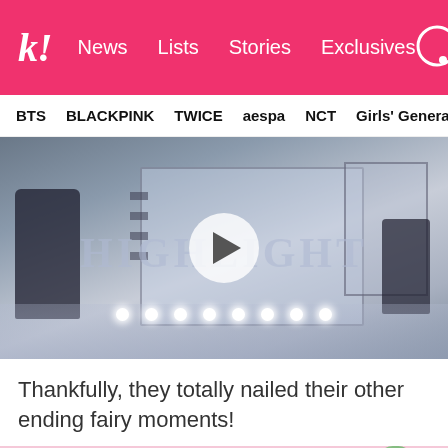k! News  Lists  Stories  Exclusives
BTS  BLACKPINK  TWICE  aespa  NCT  Girls' Generation
[Figure (screenshot): Video thumbnail of a K-pop performance stage showing 'HIGHLIGHT' text in large letters, a play button overlay in the center, stage lights along the bottom, and silhouettes of performers on left and right sides.]
Thankfully, they totally nailed their other ending fairy moments!
[Figure (photo): Close-up photo of a male K-pop idol with dark brown hair, against a pink and green background with a plant visible on the right side.]